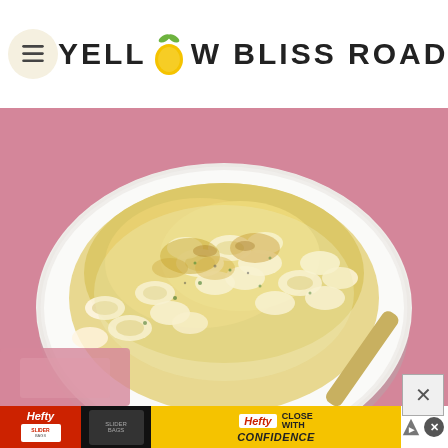Yellow Bliss Road
[Figure (photo): A white bowl filled with creamy baked pasta (rotini/fusilli) with a golden cheesy topping, served on a pink cloth napkin with a gold fork, close-up food photography]
[Figure (photo): Hefty Slider Bags advertisement banner with red Hefty box, product image, and yellow background showing 'Close With Confidence' tagline]